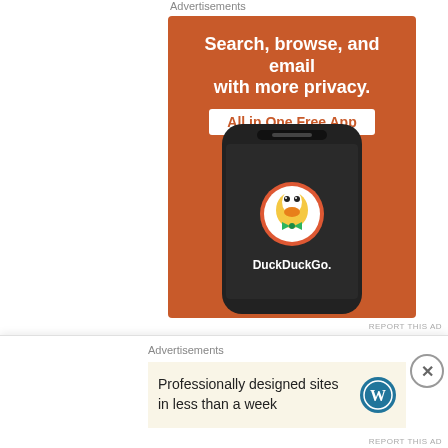Advertisements
[Figure (illustration): DuckDuckGo advertisement banner on an orange background showing a phone with the DuckDuckGo logo. Text reads: Search, browse, and email with more privacy. All in One Free App. DuckDuckGo.]
REPORT THIS AD
Rate this: ★★★★☆ ℹ 74 Votes
Share this:
Advertisements
[Figure (illustration): WordPress advertisement: Professionally designed sites in less than a week, with WordPress logo.]
REPORT THIS AD